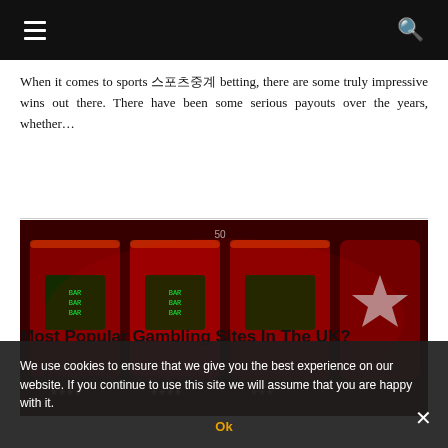≡  🔍
When it comes to sports 스포츠중계 betting, there are some truly impressive wins out there. There have been some serious payouts over the years, whether…
[Figure (photo): Close-up photo of red slot machines with glowing screens and star symbols]
Most Popular Gambling Games In The UK?
Gambling games are hugely popular in the
We use cookies to ensure that we give you the best experience on our website. If you continue to use this site we will assume that you are happy with it.
Ok